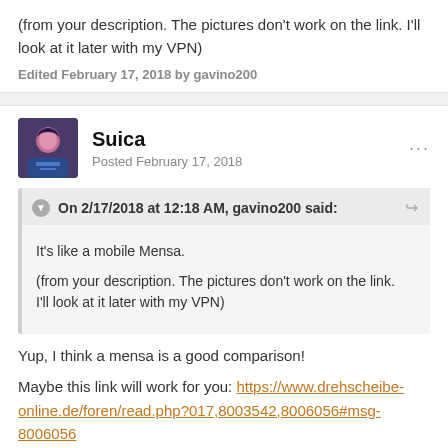(from your description. The pictures don't work on the link. I'll look at it later with my VPN)
Edited February 17, 2018 by gavino200
Suica
Posted February 17, 2018
On 2/17/2018 at 12:18 AM, gavino200 said:
It's like a mobile Mensa.

(from your description. The pictures don't work on the link. I'll look at it later with my VPN)
Yup, I think a mensa is a good comparison!
Maybe this link will work for you: https://www.drehscheibe-online.de/foren/read.php?017,8003542,8006056#msg-8006056